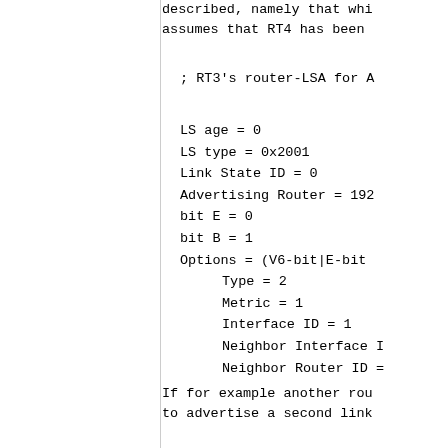described, namely that whi assumes that RT4 has been
; RT3's router-LSA for A
LS age = 0
LS type = 0x2001
Link State ID = 0
Advertising Router = 192
bit E = 0
bit B = 1
Options = (V6-bit|E-bit
    Type = 2
    Metric = 1
    Interface ID = 1
    Neighbor Interface I
    Neighbor Router ID =
If for example another rou to advertise a second link